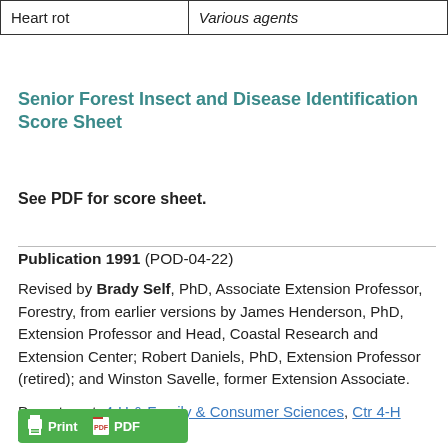| Heart rot | Various agents |
Senior Forest Insect and Disease Identification Score Sheet
See PDF for score sheet.
Publication 1991 (POD-04-22)
Revised by Brady Self, PhD, Associate Extension Professor, Forestry, from earlier versions by James Henderson, PhD, Extension Professor and Head, Coastal Research and Extension Center; Robert Daniels, PhD, Extension Professor (retired); and Winston Savelle, former Extension Associate.
Department: 4-H & Family & Consumer Sciences, Ctr 4-H Youth Development
[Figure (other): Print and PDF buttons in green]